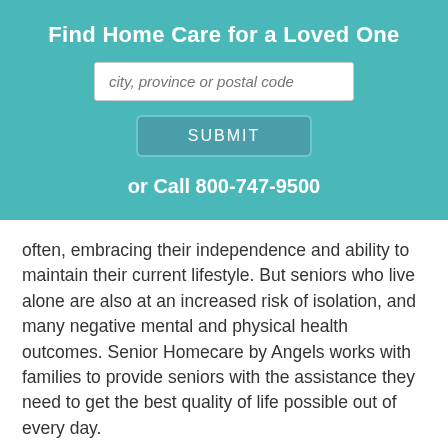Find Home Care for a Loved One
[Figure (screenshot): Search input field with placeholder text 'city, province or postal code']
[Figure (screenshot): SUBMIT button in teal/dark teal color with border]
or Call 800-747-9500
often, embracing their independence and ability to maintain their current lifestyle. But seniors who live alone are also at an increased risk of isolation, and many negative mental and physical health outcomes. Senior Homecare by Angels works with families to provide seniors with the assistance they need to get the best quality of life possible out of every day.
When you open a new franchise with us, you'll get access to leaders with years of industry experience, business tools that make your job easier, best practices in growing your staff of caregivers, and networking and training opportunities that will keep your knowledge